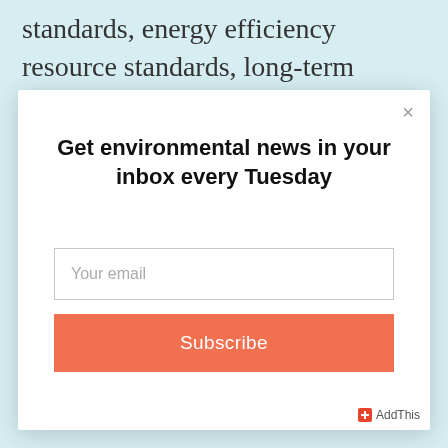standards, energy efficiency resource standards, long-term requirements for additional hydropower and wind power,
[Figure (screenshot): Modal popup dialog with close button (×), heading 'Get environmental news in your inbox every Tuesday', an email input field with placeholder 'Your email', a salmon/orange Subscribe button, and an AddThis badge in the bottom right corner.]